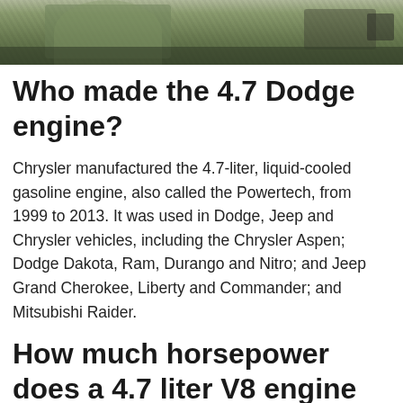[Figure (photo): Top portion of a person in a green t-shirt working at a workbench with tools and equipment visible in the background]
Who made the 4.7 Dodge engine?
Chrysler manufactured the 4.7-liter, liquid-cooled gasoline engine, also called the Powertech, from 1999 to 2013. It was used in Dodge, Jeep and Chrysler vehicles, including the Chrysler Aspen; Dodge Dakota, Ram, Durango and Nitro; and Jeep Grand Cherokee, Liberty and Commander; and Mitsubishi Raider.
How much horsepower does a 4.7 liter V8 engine have?